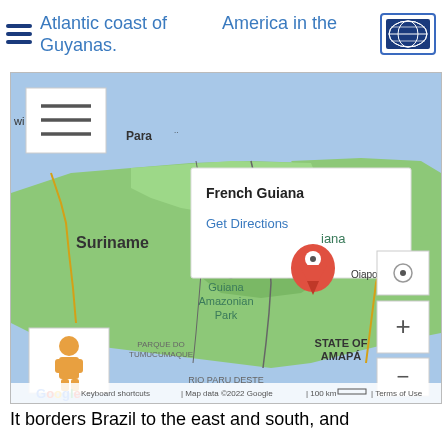Atlantic coast of America in the Guyanas.
[Figure (map): Google Maps screenshot showing French Guiana on the Atlantic coast of South America, with a location pin and info popup labeled 'French Guiana' with 'Get Directions' link. Surrounding regions visible: Suriname, Guiana Amazonian Park, Parque do Tumucumaque, State of Amapá, Rio Paru Deste, Oiapoque. Map controls (zoom +/-), Street View icon, and Google logo with attribution visible at bottom.]
It borders Brazil to the east and south, and